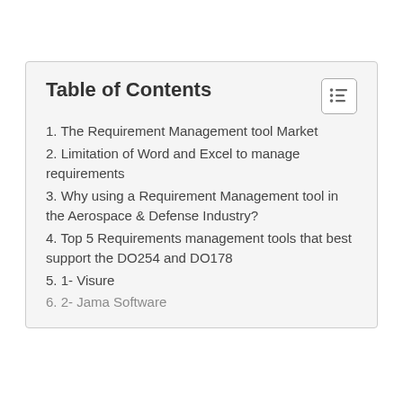Table of Contents
1. The Requirement Management tool Market
2. Limitation of Word and Excel to manage requirements
3. Why using a Requirement Management tool in the Aerospace & Defense Industry?
4. Top 5 Requirements management tools that best support the DO254 and DO178
5. 1- Visure
6. 2- Jama Software